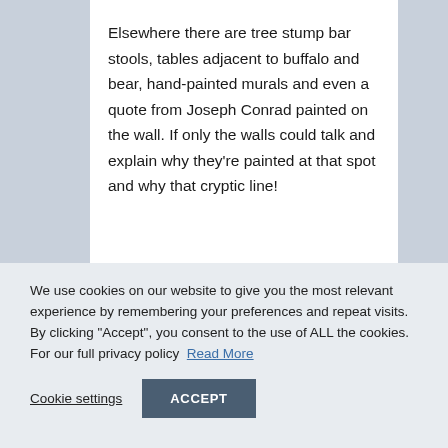Elsewhere there are tree stump bar stools, tables adjacent to buffalo and bear, hand-painted murals and even a quote from Joseph Conrad painted on the wall. If only the walls could talk and explain why they're painted at that spot and why that cryptic line!
[Figure (photo): Partial photo visible as a horizontal strip at the bottom of the white content area]
We use cookies on our website to give you the most relevant experience by remembering your preferences and repeat visits. By clicking "Accept", you consent to the use of ALL the cookies. For our full privacy policy  Read More